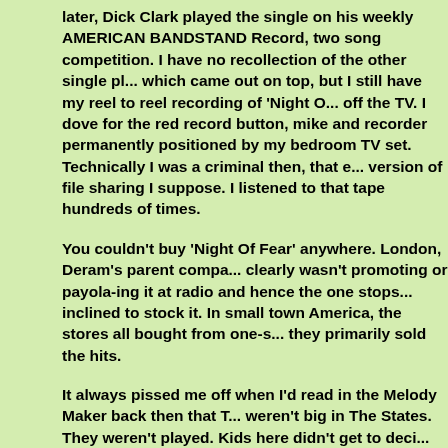later, Dick Clark played the single on his weekly AMERICAN BANDSTAND Record, two song competition. I have no recollection of the other single played, which came out on top, but I still have my reel to reel recording of 'Night Of Fear' off the TV. I dove for the red record button, mike and recorder permanently positioned by my bedroom TV set. Technically I was a criminal then, that era's version of file sharing I suppose. I listened to that tape hundreds of times.
You couldn't buy 'Night Of Fear' anywhere. London, Deram's parent company, clearly wasn't promoting or payola-ing it at radio and hence the one stops weren't inclined to stock it. In small town America, the stores all bought from one-stops, they primarily sold the hits.
It always pissed me off when I'd read in the Melody Maker back then that The Move weren't big in The States. They weren't played. Kids here didn't get to decide.
So my record company letter writing continued. Someone at London in NYC cut a deal with me, I'd send him $1.50 per record, which was extortion in those days, and he'd send whatever I needed. He was basically selling promos through the mail. Pure genius. Worked for both of us. The stuff I bought off this fellow: The Cryin' Shames, The Attack, The Syn, World Of Oz, The Honeybus, non-hits by The Small Faces, Unit 4 + 2, The Zombies. Even then I knew I should get extras but I didn't have the cash. On this particular occasion he sent me the stock copy of 'Night Of Fear', not easily found then or now.
Over the years, I've acquired many copies, US and UK. The Dutch picture s